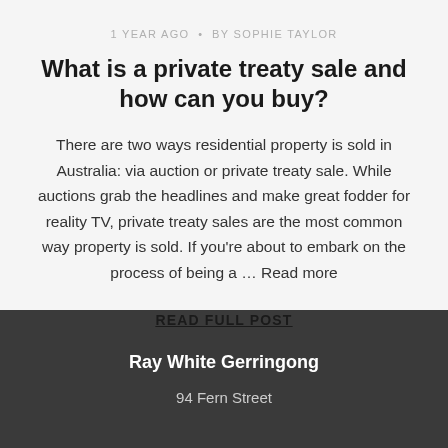1 YEAR AGO  •  BY SOPHIE TAYLOR
What is a private treaty sale and how can you buy?
There are two ways residential property is sold in Australia: via auction or private treaty sale. While auctions grab the headlines and make great fodder for reality TV, private treaty sales are the most common way property is sold. If you're about to embark on the process of being a … Read more
READ FULL POST
Ray White Gerringong
94 Fern Street